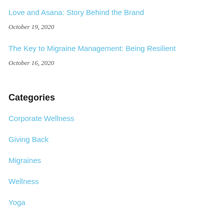Love and Asana: Story Behind the Brand
October 19, 2020
The Key to Migraine Management: Being Resilient
October 16, 2020
Categories
Corporate Wellness
Giving Back
Migraines
Wellness
Yoga